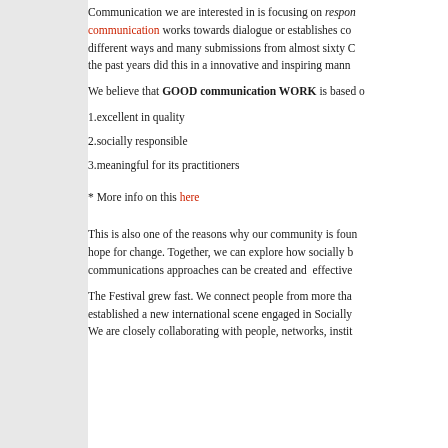Communication we are interested in is focusing on responsible communication works towards dialogue or establishes co... different ways and many submissions from almost sixty C... the past years did this in a innovative and inspiring mann...
We believe that GOOD communication WORK is based o...
1.excellent in quality
2.socially responsible
3.meaningful for its practitioners
* More info on this here
This is also one of the reasons why our community is foun... hope for change. Together, we can explore how socially b... communications approaches can be created and effective...
The Festival grew fast. We connect people from more tha... established a new international scene engaged in Socially... We are closely collaborating with people, networks, instit...